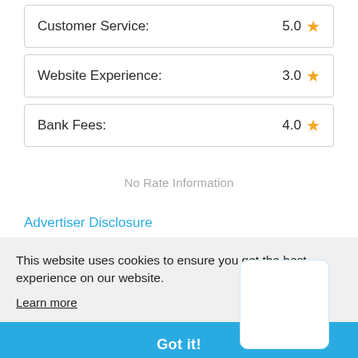Customer Service: 5.0 ★
Website Experience: 3.0 ★
Bank Fees: 4.0 ★
No Rate Information
Advertiser Disclosure
This website uses cookies to ensure you get the best experience on our website.
Learn more
Got it!
PROS: